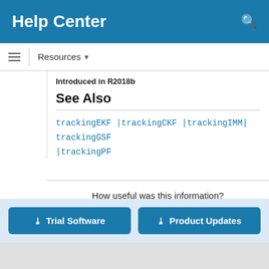Help Center
Resources ▼
Introduced in R2018b
See Also
trackingEKF | trackingCKF | trackingIMM | trackingGSF | trackingPF
How useful was this information?
[Figure (other): Five empty star rating icons]
Trial Software
Product Updates